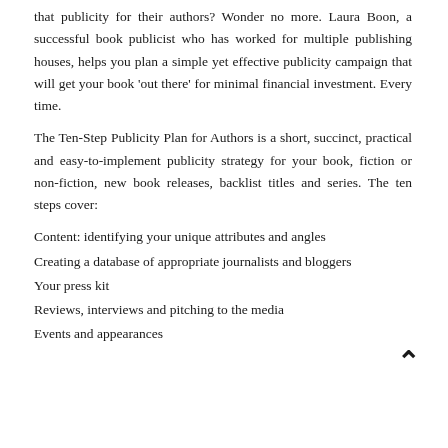that publicity for their authors? Wonder no more. Laura Boon, a successful book publicist who has worked for multiple publishing houses, helps you plan a simple yet effective publicity campaign that will get your book 'out there' for minimal financial investment. Every time.
The Ten-Step Publicity Plan for Authors is a short, succinct, practical and easy-to-implement publicity strategy for your book, fiction or non-fiction, new book releases, backlist titles and series. The ten steps cover:
Content: identifying your unique attributes and angles
Creating a database of appropriate journalists and bloggers
Your press kit
Reviews, interviews and pitching to the media
Events and appearances